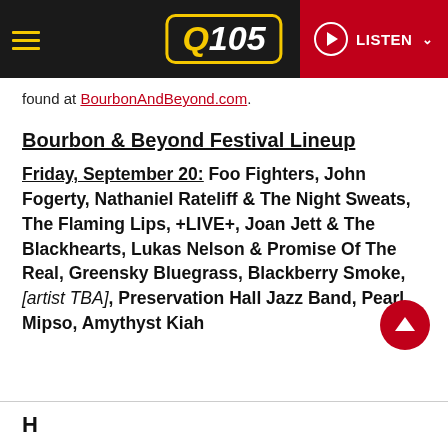Q105 — LISTEN
found at BourbonAndBeyond.com.
Bourbon & Beyond Festival Lineup
Friday, September 20: Foo Fighters, John Fogerty, Nathaniel Rateliff & The Night Sweats, The Flaming Lips, +LIVE+, Joan Jett & The Blackhearts, Lukas Nelson & Promise Of The Real, Greensky Bluegrass, Blackberry Smoke, [artist TBA], Preservation Hall Jazz Band, Pearl, Mipso, Amythyst Kiah